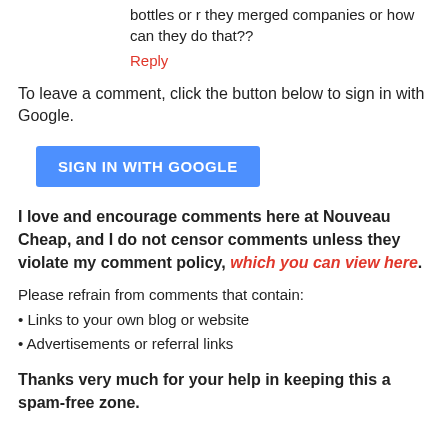bottles or r they merged companies or how can they do that??
Reply
To leave a comment, click the button below to sign in with Google.
[Figure (other): Blue 'SIGN IN WITH GOOGLE' button]
I love and encourage comments here at Nouveau Cheap, and I do not censor comments unless they violate my comment policy, which you can view here.
Please refrain from comments that contain:
Links to your own blog or website
Advertisements or referral links
Thanks very much for your help in keeping this a spam-free zone.